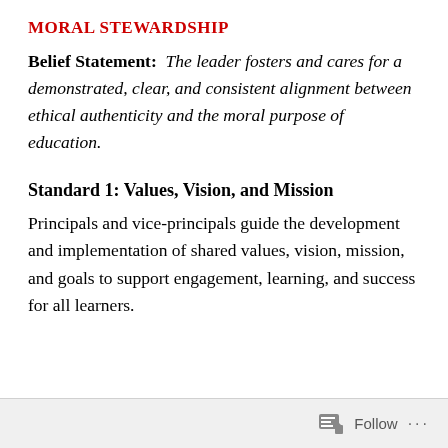MORAL STEWARDSHIP
Belief Statement: The leader fosters and cares for a demonstrated, clear, and consistent alignment between ethical authenticity and the moral purpose of education.
Standard 1: Values, Vision, and Mission
Principals and vice-principals guide the development and implementation of shared values, vision, mission, and goals to support engagement, learning, and success for all learners.
Follow ...